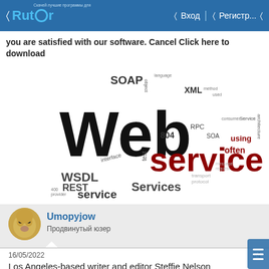Rutor — Вход   Регистр...
you are satisfied with our software. Cancel Click here to download
[Figure (illustration): Word cloud centered on 'Web services' with related terms: SOAP, XML, WSDL, REST, service, Services, RPC, interface, SOA, using, often, method, architecture, consumer, transport, protocol]
Umopyjow
Продвинутый юзер
16/05/2022
#4
Los Angeles-based writer and editor Steffie Nelson explores the places where art, style, culture and history intersect. Her writing has appeared in The New York Times, Los Angeles Review of Books, W Magazine, and many others. She is the editor of the